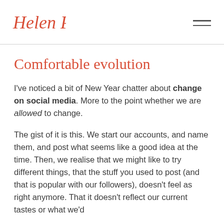Helen Perry
Comfortable evolution
I've noticed a bit of New Year chatter about change on social media. More to the point whether we are allowed to change.
The gist of it is this. We start our accounts, and name them, and post what seems like a good idea at the time. Then, we realise that we might like to try different things, that the stuff you used to post (and that is popular with our followers), doesn't feel as right anymore. That it doesn't reflect our current tastes or what we'd